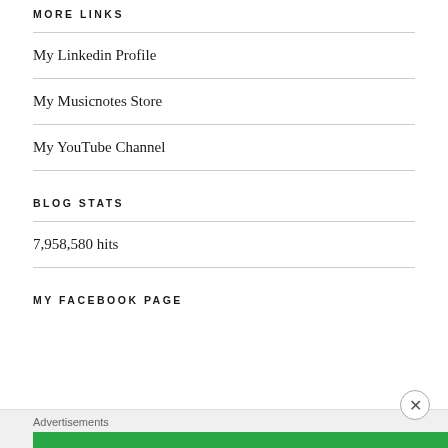MORE LINKS
My Linkedin Profile
My Musicnotes Store
My YouTube Channel
BLOG STATS
7,958,580 hits
MY FACEBOOK PAGE
Advertisements